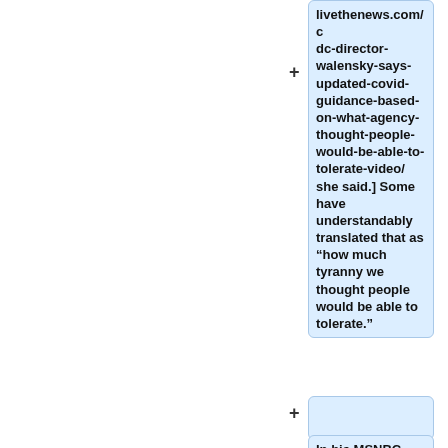livethenews.com/cdc-director-walensky-says-updated-covid-guidance-based-on-what-agency-thought-people-would-be-able-to-tolerate-video/ she said.] Some have understandably translated that as “how much tyranny we thought people would be able to tolerate.”
In his MSNBC interview, Fauci...